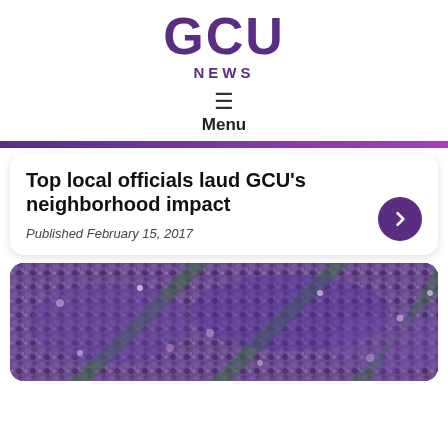GCU NEWS
Menu
Top local officials laud GCU's neighborhood impact
Published February 15, 2017
[Figure (photo): Aerial view of a large crowd of people wearing purple at a GCU event or stadium]